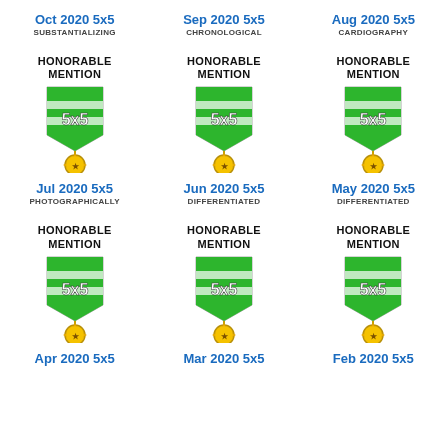Oct 2020 5x5 / SUBSTANTIALIZING
Sep 2020 5x5 / CHRONOLOGICAL
Aug 2020 5x5 / CARDIOGRAPHY
[Figure (illustration): HONORABLE MENTION badge with green and white shield showing 5x5 and gold star medal pendant - first row, column 1]
[Figure (illustration): HONORABLE MENTION badge with green and white shield showing 5x5 and gold star medal pendant - first row, column 2]
[Figure (illustration): HONORABLE MENTION badge with green and white shield showing 5x5 and gold star medal pendant - first row, column 3]
Jul 2020 5x5 / PHOTOGRAPHICALLY
Jun 2020 5x5 / DIFFERENTIATED
May 2020 5x5 / DIFFERENTIATED
[Figure (illustration): HONORABLE MENTION badge with green and white shield showing 5x5 and gold star medal pendant - second row, column 1]
[Figure (illustration): HONORABLE MENTION badge with green and white shield showing 5x5 and gold star medal pendant - second row, column 2]
[Figure (illustration): HONORABLE MENTION badge with green and white shield showing 5x5 and gold star medal pendant - second row, column 3]
Apr 2020 5x5
Mar 2020 5x5
Feb 2020 5x5